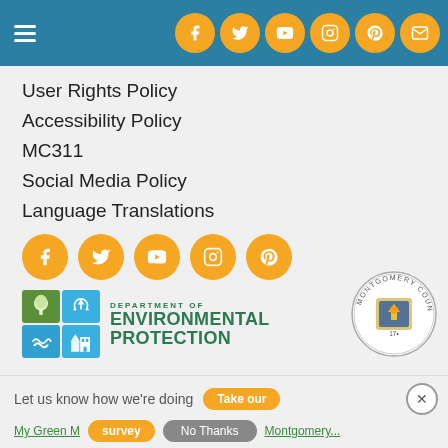[Figure (screenshot): Top navigation header bar with teal/dark blue background showing hamburger menu icon on left and 6 orange social media icon circles (Facebook, Twitter, YouTube, Instagram, Pinterest, Email) on the right]
User Rights Policy
Accessibility Policy
MC311
Social Media Policy
Language Translations
[Figure (infographic): Row of 5 orange social media icon circles: Facebook, Twitter, YouTube, Instagram, Pinterest]
[Figure (logo): Department of Environmental Protection logo with 2x2 grid of colored squares (green tree, blue recycling, blue water spiral, blue buildings) and text DEPARTMENT OF ENVIRONMENTAL PROTECTION in green]
[Figure (logo): Montgomery County seal/crest circular logo in bottom right]
Let us know how we're doing
Take our survey
No Thanks
My Green Montgomery ... Montgomery...